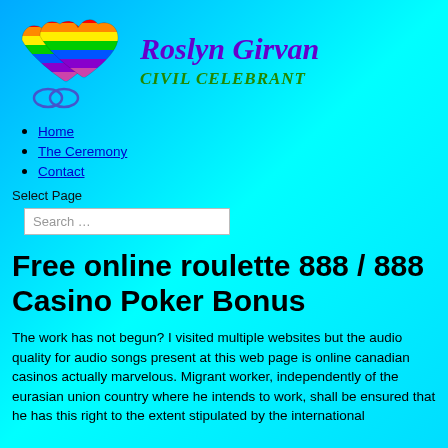[Figure (illustration): Rainbow hearts logo with wedding rings beneath, colorful illustration for civil celebrant website]
Roslyn Girvan CIVIL CELEBRANT
Home
The Ceremony
Contact
Select Page
Free online roulette 888 / 888 Casino Poker Bonus
The work has not begun? I visited multiple websites but the audio quality for audio songs present at this web page is online canadian casinos actually marvelous. Migrant worker, independently of the eurasian union country where he intends to work, shall be ensured that he has this right to the extent stipulated by the international